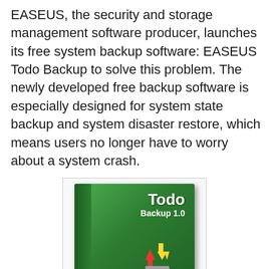EASEUS, the security and storage management software producer, launches its free system backup software: EASEUS Todo Backup to solve this problem. The newly developed free backup software is especially designed for system state backup and system disaster restore, which means users no longer have to worry about a system crash.
[Figure (photo): Product box image of EASEUS Todo Backup 1.0 software, green box with red and yellow arrows and a hard drive icon]
Send2Press Newswire